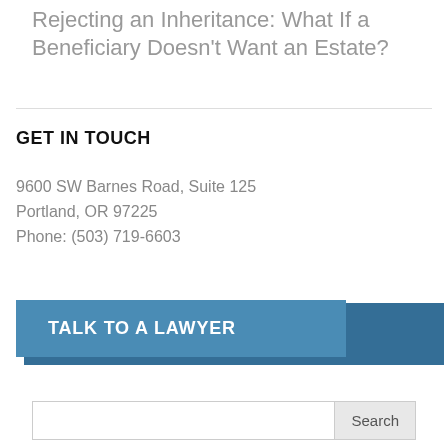Rejecting an Inheritance: What If a Beneficiary Doesn't Want an Estate?
GET IN TOUCH
9600 SW Barnes Road, Suite 125
Portland, OR 97225
Phone: (503) 719-6603
[Figure (other): Blue button with white bold uppercase text reading TALK TO A LAWYER]
[Figure (other): Search input box with a Search button on the right]